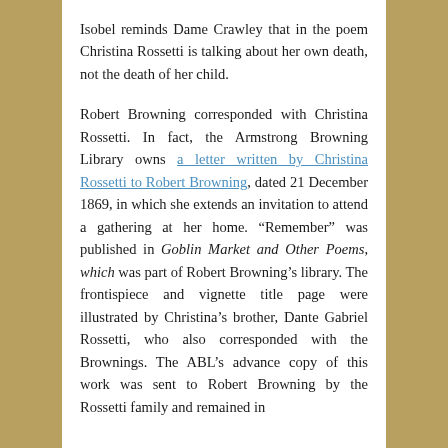Isobel reminds Dame Crawley that in the poem Christina Rossetti is talking about her own death, not the death of her child.
Robert Browning corresponded with Christina Rossetti. In fact, the Armstrong Browning Library owns a letter written by Christina Rossetti to Robert Browning, dated 21 December 1869, in which she extends an invitation to attend a gathering at her home. “Remember” was published in Goblin Market and Other Poems, which was part of Robert Browning’s library. The frontispiece and vignette title page were illustrated by Christina’s brother, Dante Gabriel Rossetti, who also corresponded with the Brownings. The ABL’s advance copy of this work was sent to Robert Browning by the Rossetti family and remained in